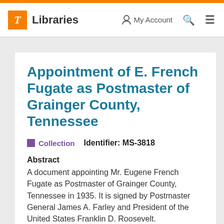T Libraries   My Account   🔍   ≡
Appointment of E. French Fugate as Postmaster of Grainger County, Tennessee
Collection   Identifier: MS-3818
Abstract
A document appointing Mr. Eugene French Fugate as Postmaster of Grainger County, Tennessee in 1935. It is signed by Postmaster General James A. Farley and President of the United States Franklin D. Roosevelt.